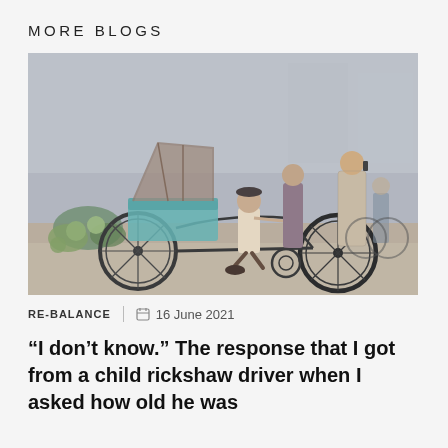MORE BLOGS
[Figure (photo): Street scene showing a child rickshaw driver on a cycle rickshaw in a busy market area. Several people are visible in the background including men talking on phones and browsing a market stall with vegetables.]
RE-BALANCE  |  📅  16 June 2021
“I don’t know.” The response that I got from a child rickshaw driver when I asked how old he was